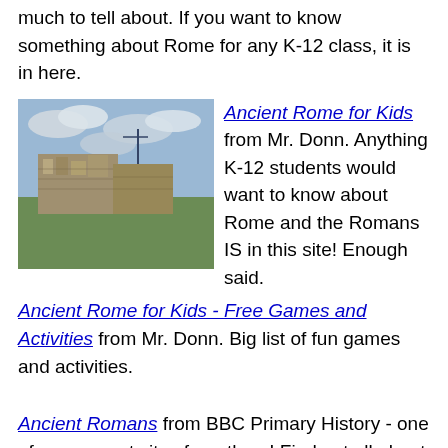much to tell about. If you want to know something about Rome for any K-12 class, it is in here.
[Figure (photo): Photo of ancient Roman ruins - stone structures against a cloudy sky]
Ancient Rome for Kids from Mr. Donn. Anything K-12 students would want to know about Rome and the Romans IS in this site! Enough said.
Ancient Rome for Kids - Free Games and Activities from Mr. Donn. Big list of fun games and activities.
Ancient Romans from BBC Primary History - one of many great sites from them! Find out all about the ancient